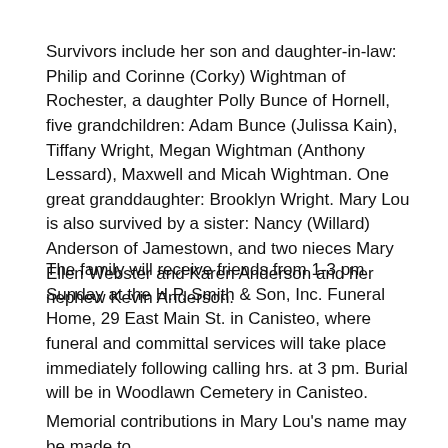Survivors include her son and daughter-in-law: Philip and Corinne (Corky) Wightman of Rochester, a daughter Polly Bunce of Hornell, five grandchildren: Adam Bunce (Julissa Kain), Tiffany Wright, Megan Wightman (Anthony Lessard), Maxwell and Micah Wightman. One great granddaughter: Brooklyn Wright. Mary Lou is also survived by a sister: Nancy (Willard) Anderson of Jamestown, and two nieces Mary Ellen Webster and Karen Anderson and her nephew Kevin Anderson.
The family will receive friends from 1-3 pm Sunday at the H.P. Smith & Son, Inc. Funeral Home, 29 East Main St. in Canisteo, where funeral and committal services will take place immediately following calling hrs. at 3 pm. Burial will be in Woodlawn Cemetery in Canisteo.
Memorial contributions in Mary Lou's name may be made to